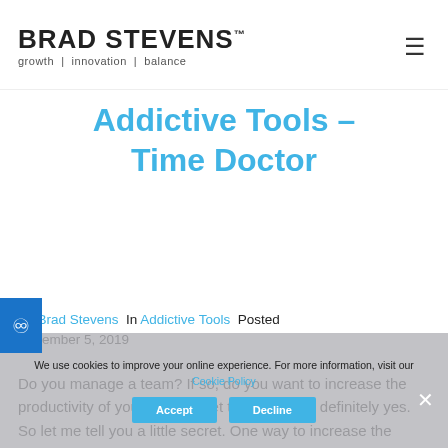BRAD STEVENS™ growth | innovation | balance
Addictive Tools – Time Doctor
By Brad Stevens In Addictive Tools Posted December 5, 2019
Do you manage a team? If so, do you want to increase the productivity of your team? I bet the answer is definitely yes. So let me tell you a little secret. One way to increase the overall productivity of your team members is through monitoring.